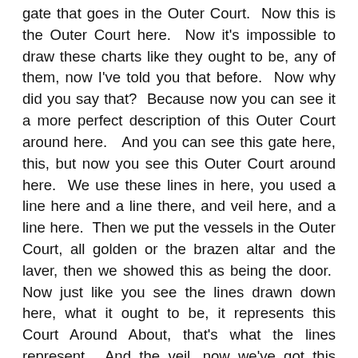gate that goes in the Outer Court.  Now this is the Outer Court here.  Now it's impossible to draw these charts like they ought to be, any of them, now I've told you that before.  Now why did you say that?  Because now you can see it a more perfect description of this Outer Court around here.   And you can see this gate here, this, but now you see this Outer Court around here.  We use these lines in here, you used a line here and a line there, and veil here, and a line here.  Then we put the vessels in the Outer Court, all golden or the brazen altar and the laver, then we showed this as being the door.  Now just like you see the lines drawn down here, what it ought to be, it represents this Court Around About, that's what the lines represent.  And the veil, now we've got this drawn clear across here and it doesn't go clear across there, and the, and the door here it doesn't go clear across to the end of the line around here.  Now I think we did a very good job, a very good job to do as well as we have done.  Now this is what we did.  Now